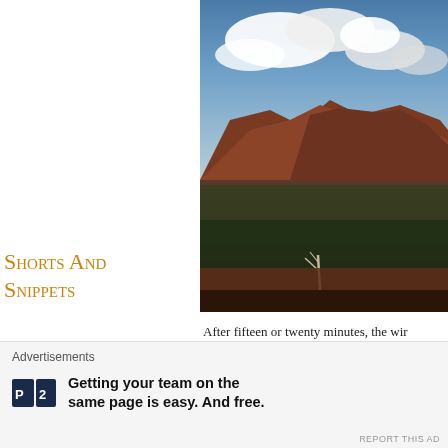[Figure (photo): Aerial/elevated view of red rock formations and desert landscape in Sedona, Arizona, with blue sky and white clouds above]
Shorts and Snippets
HOME
After fifteen or twenty minutes, the wir... the loud tourists and drone users away
Advertisements
Getting your team on the same page is easy. And free.